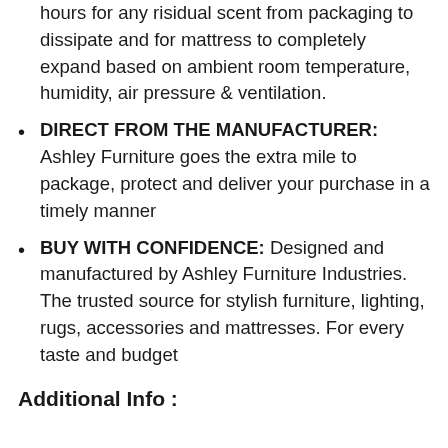hours for any risidual scent from packaging to dissipate and for mattress to completely expand based on ambient room temperature, humidity, air pressure & ventilation.
DIRECT FROM THE MANUFACTURER: Ashley Furniture goes the extra mile to package, protect and deliver your purchase in a timely manner
BUY WITH CONFIDENCE: Designed and manufactured by Ashley Furniture Industries. The trusted source for stylish furniture, lighting, rugs, accessories and mattresses. For every taste and budget
Additional Info :